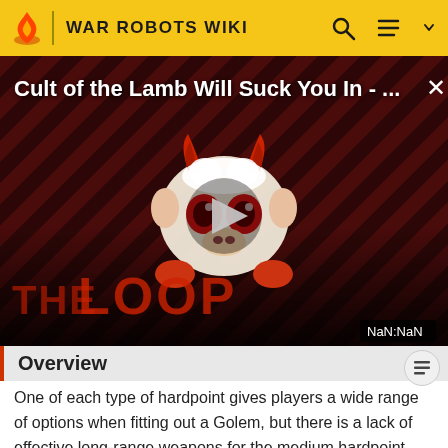WAR ROBOTS WIKI
[Figure (screenshot): Video thumbnail for 'Cult of the Lamb Will Suck You In - ...' with a cartoon demon lamb character, play button overlay, THE LOOP watermark, and NaN:NaN timer, on a dark diagonal striped red/brown background.]
Overview
One of each type of hardpoint gives players a wide range of options when fitting out a Golem, but there is a lack of effective long-range weapons for the medium hardpoint, which means the robot lends itself best to mid-range and